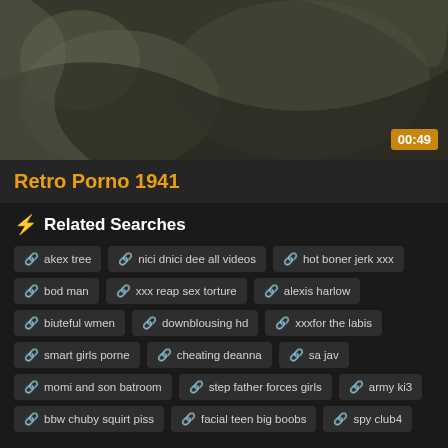[Figure (photo): Black and white retro video thumbnail showing people, with a golden timer badge showing 00:49 in the bottom right corner]
Retro Porno 1941
⚡ Related Searches
akex tree
nici dnici dee all videos
hot boner jerk xxx
bod man
xxx reap sex torture
alexis harlow
biuteful wmen
downblousing hd
xxxfor the labis
smart girls porne
cheating deanna
sa jav
momi and son batroom
step father forces girls
army ki3
bbw chuby squirt piss
facial teen big boobs
spy club4